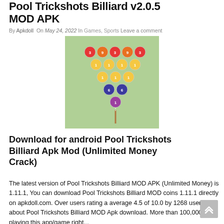Pool Trickshots Billiard v2.0.5 MOD APK
By Apkdoll On May 24, 2022 In Games, Sports Leave a comment
[Figure (photo): Billiard balls racked in triangle formation on a green pool table, viewed from above]
Download for android Pool Trickshots Billiard Apk Mod (Unlimited Money Crack)
The latest version of Pool Trickshots Billiard MOD APK (Unlimited Money) is 1.11.1, You can download Pool Trickshots Billiard MOD coins 1.11.1 directly on apkdoll.com. Over users rating a average 4.5 of 10.0 by 1268 users about Pool Trickshots Billiard MOD Apk download. More than 100,000+ is playing this app/game right...